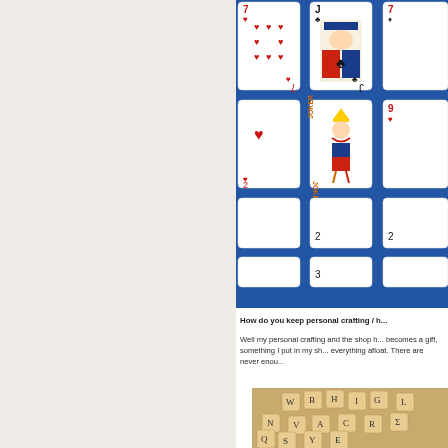[Figure (photo): Spread of playing cards on a blue background, showing 7 of hearts, Jack of clubs, Joker, 9 of hearts, and other cards]
How do you keep personal crafting / h...
Well my personal crafting and the shop h... becomes a gift, something I put in my sh... everything afloat. There are never enou...
[Figure (photo): Pile of wooden Scrabble letter tiles scattered on a surface]